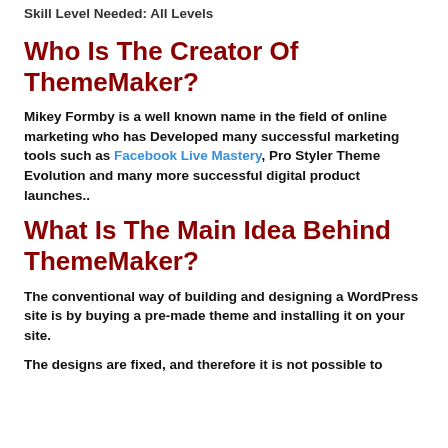Skill Level Needed: All Levels
Who Is The Creator Of ThemeMaker?
Mikey Formby is a well known name in the field of online marketing who has Developed many successful marketing tools such as Facebook Live Mastery, Pro Styler Theme Evolution and many more successful digital product launches..
What Is The Main Idea Behind ThemeMaker?
The conventional way of building and designing a WordPress site is by buying a pre-made theme and installing it on your site.
The designs are fixed, and therefore it is not possible to